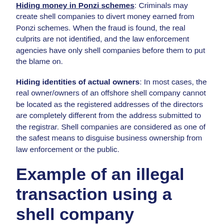Hiding money in Ponzi schemes: Criminals may create shell companies to divert money earned from Ponzi schemes. When the fraud is found, the real culprits are not identified, and the law enforcement agencies have only shell companies before them to put the blame on.
Hiding identities of actual owners: In most cases, the real owner/owners of an offshore shell company cannot be located as the registered addresses of the directors are completely different from the address submitted to the registrar. Shell companies are considered as one of the safest means to disguise business ownership from law enforcement or the public.
Example of an illegal transaction using a shell company
Below is an example detailing how shell companies are